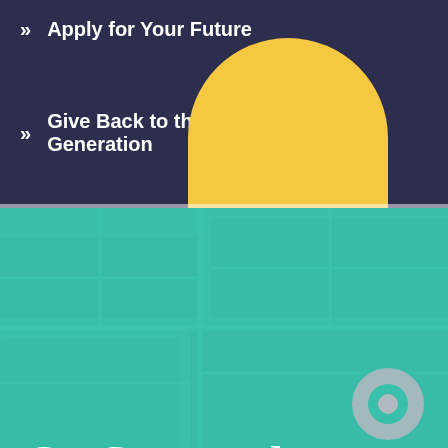>> Apply for Your Future
>> Give Back to the Next Generation
[Figure (illustration): Yellow semicircle (sun) rising above a horizontal horizon line, on a dark navy background]
Get Connected
745 Commonwealth Avenue
Boston, MA 02215
617-353-3050